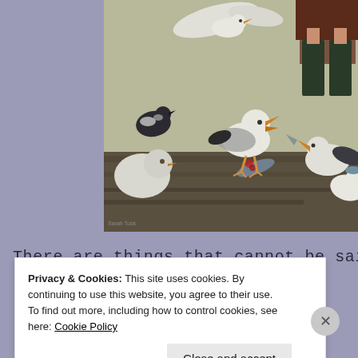[Figure (illustration): A painting showing several seagulls on rocks, one with an open beak, another with a fish, and a dark bird among them. Partially visible legs of a person in dark boots and skirt in the upper right. Muted earthy tones with grey-green background.]
There are things that cannot be said...
Privacy & Cookies: This site uses cookies. By continuing to use this website, you agree to their use.
To find out more, including how to control cookies, see here: Cookie Policy
Close and accept